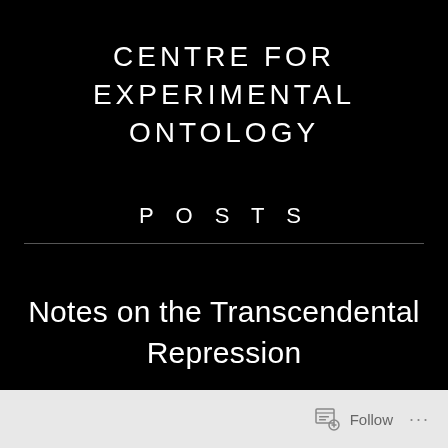CENTRE FOR EXPERIMENTAL ONTOLOGY
POSTS
Notes on the Transcendental Repression
Follow ...